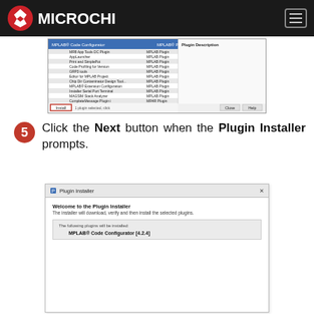Microchip
[Figure (screenshot): MPLAB X IDE plugin manager window showing list of plugins including MPLAB Code Configurator, with Install button highlighted]
5 Click the Next button when the Plugin Installer prompts.
[Figure (screenshot): Plugin Installer dialog showing 'Welcome to the Plugin Installer' with message about downloading and installing selected plugins. Lists MPLAB® Code Configurator [4.2.4] as the plugin to be installed.]